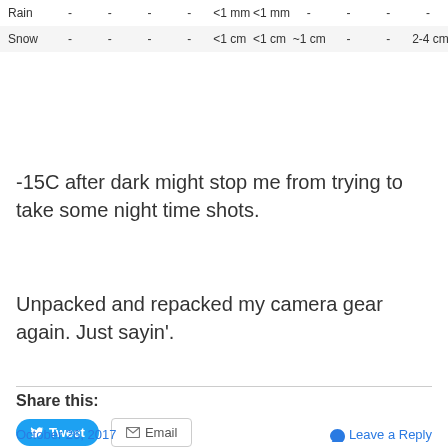|  |  |  |  |  |  |  |  |  |  |  |
| --- | --- | --- | --- | --- | --- | --- | --- | --- | --- | --- |
| Rain | - | - | - | - | <1 mm | <1 mm | - | - | - | - |
| Snow | - | - | - | - | <1 cm | <1 cm | ~1 cm | - | - | 2-4 cm | ~ |
-15C after dark might stop me from trying to take some night time shots.
Unpacked and repacked my camera gear again. Just sayin'.
Share this:
Loading...
October 26, 2017   Leave a Reply